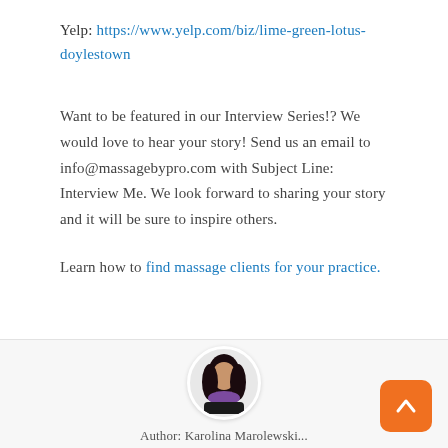Yelp: https://www.yelp.com/biz/lime-green-lotus-doylestown
Want to be featured in our Interview Series!? We would love to hear your story! Send us an email to info@massagebypro.com with Subject Line: Interview Me. We look forward to sharing your story and it will be sure to inspire others.
Learn how to find massage clients for your practice.
[Figure (photo): Author avatar photo showing a woman with dark hair wearing a purple scarf, displayed in a circular frame, with an orange scroll-to-top button in the bottom right corner. Below the circle is partial text 'Author: Karolina Marolewski...']